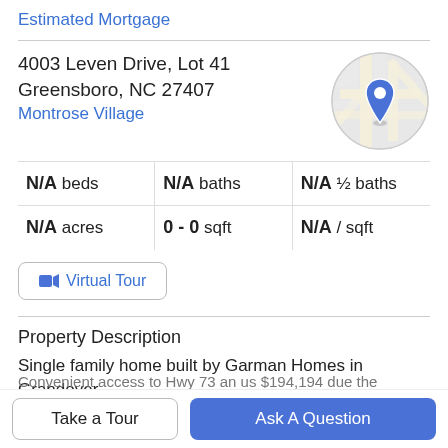Estimated Mortgage
4003 Leven Drive, Lot 41
Greensboro, NC 27407
Montrose Village
[Figure (map): Circular map thumbnail showing street map with blue location pin marker]
| N/A beds | N/A baths | N/A ½ baths |
| N/A acres | 0 - 0 sqft | N/A / sqft |
📹 Virtual Tour
Property Description
Single family home built by Garman Homes in Grandover located on the west golf course. Enjoy all the amenities
Convenient access to Hwy 73 an us $194,194 due the
Take a Tour
Ask A Question